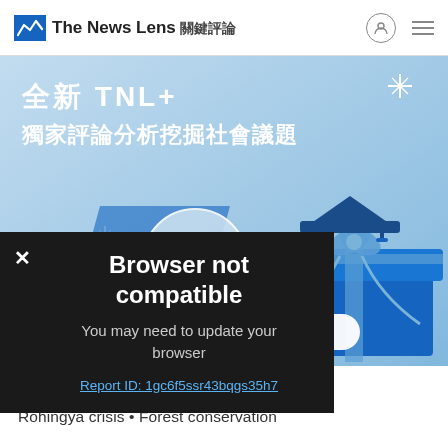The News Lens 關鍵評論
[Figure (illustration): TNL+ promotional banner with Chinese text '全新 TNL+ 獨家評論分析挖掘社會議題' on a light blue background with illustrated gift boxes with ribbons and sparkle decorations]
[Figure (screenshot): Browser not compatible popup overlay on dark background with message 'You may need to update your browser' and a report ID link]
Powered by GliaStudio
Tags回
Rohingya crisis • Forest conservation